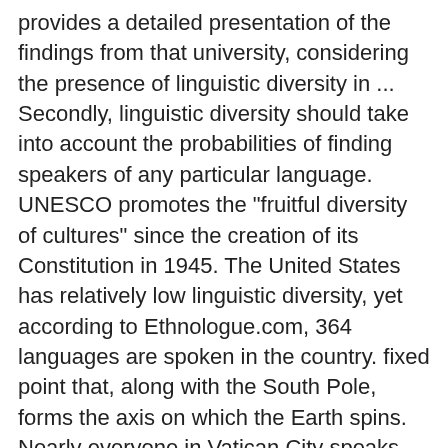provides a detailed presentation of the findings from that university, considering the presence of linguistic diversity in ... Secondly, linguistic diversity should take into account the probabilities of finding speakers of any particular language. UNESCO promotes the "fruitful diversity of cultures" since the creation of its Constitution in 1945. The United States has relatively low linguistic diversity, yet according to Ethnologue.com, 364 languages are spoken in the country. fixed point that, along with the South Pole, forms the axis on which the Earth spins. Nearly everyone in Vatican City speaks Italian. While it is widely acknowledged that the degradation of the natural environment, in particular traditional habitats, entails a loss of cultural and linguistic diversity, new studies suggest that language loss, in its turn, has a negative ... Privacy Notice | Would you like to get the full Thesis from Shodh ganga along with citation details? You will use the Linguistic Diversity